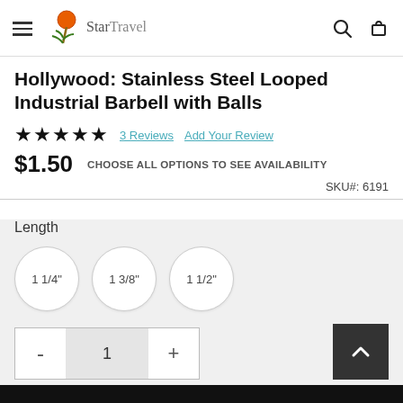Site navigation header with hamburger menu, Star Travel logo, search and cart icons
Hollywood: Stainless Steel Looped Industrial Barbell with Balls
★★★★★  3 Reviews  Add Your Review
$1.50  CHOOSE ALL OPTIONS TO SEE AVAILABILITY
SKU#:  6191
Length
1 1/4"
1 3/8"
1 1/2"
Quantity: 1